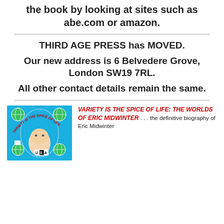the book by looking at sites such as abe.com or amazon.
THIRD AGE PRESS has MOVED.
Our new address is 6 Belvedere Grove, London SW19 7RL.
All other contact details remain the same.
[Figure (photo): Book cover for 'Variety is the Spice of Life: The Worlds of Eric Midwinter' showing a blue background with globe illustrations and a portrait of Eric Midwinter, with U3A logo.]
VARIETY IS THE SPICE OF LIFE: THE WORLDS OF ERIC MIDWINTER . . . the definitive biography of Eric Midwinter